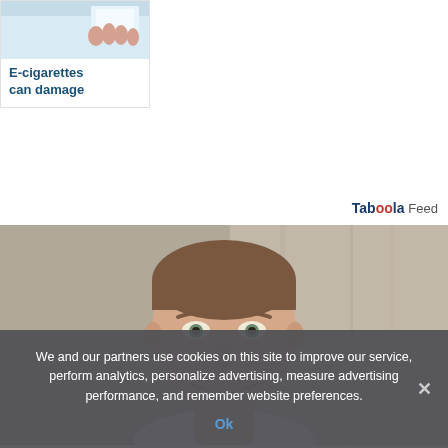[Figure (photo): Thumbnail image of a hand holding something, with light blue background — part of an article card about e-cigarettes]
E-cigarettes can damage
Taboola Feed
[Figure (photo): Portrait photo of a smiling young man with short brown hair against a concrete wall background]
We and our partners use cookies on this site to improve our service, perform analytics, personalize advertising, measure advertising performance, and remember website preferences.
Ok